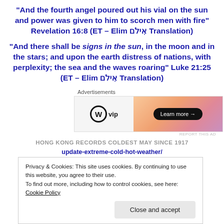“And the fourth angel poured out his vial on the sun and power was given to him to scorch men with fire” Revelation 16:8 (ET – Elim אילם Translation)
“And there shall be signs in the sun, in the moon and in the stars; and upon the earth distress of nations, with perplexity; the sea and the waves roaring” Luke 21:25 (ET – Elim אילם Translation)
[Figure (other): WordPress VIP advertisement banner with orange/pink gradient and Learn more button]
HONG KONG RECORDS COLDEST MAY SINCE 1917
Privacy & Cookies: This site uses cookies. By continuing to use this website, you agree to their use. To find out more, including how to control cookies, see here: Cookie Policy
Close and accept
update-extreme-cold-hot-weather/